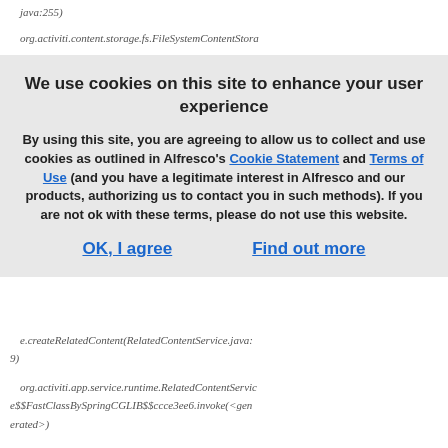java:255)
org.activiti.content.storage.fs.FileSystemContentStora
We use cookies on this site to enhance your user experience
By using this site, you are agreeing to allow us to collect and use cookies as outlined in Alfresco's Cookie Statement and Terms of Use (and you have a legitimate interest in Alfresco and our products, authorizing us to contact you in such methods).   If you are not ok with these terms, please do not use this website.
OK, I agree
Find out more
e.createRelatedContent(RelatedContentService.java:19)
org.activiti.app.service.runtime.RelatedContentService$$FastClassBySpringCGLIB$$ccce3ee6.invoke(<generated>)